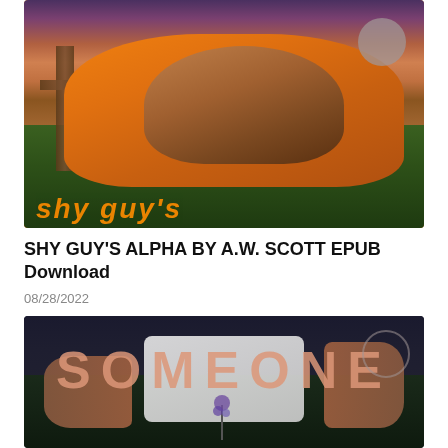[Figure (photo): Book cover showing a person in an orange sweater holding a puppy/small dog, with a fence post cross visible on the left, green grass background, sunset sky. Orange italic text partially visible at the bottom of the cover. A gray circle is visible in the upper right.]
SHY GUY'S ALPHA BY A.W. SCOTT EPUB Download
08/28/2022
[Figure (photo): Book cover with dark background (night/dusk), large text reading SOMEONE in salmon/pink letters across the top, a person in a white shirt visible in the center, hands/arms visible on left and right sides, purple flower near the bottom. An outlined circle is visible in the upper right.]